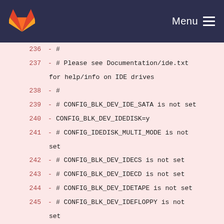Menu
236  - #
237  - # Please see Documentation/ide.txt for help/info on IDE drives
238  - #
239  - # CONFIG_BLK_DEV_IDE_SATA is not set
240  - CONFIG_BLK_DEV_IDEDISK=y
241  - # CONFIG_IDEDISK_MULTI_MODE is not set
242  - # CONFIG_BLK_DEV_IDECS is not set
243  - # CONFIG_BLK_DEV_IDECD is not set
244  - # CONFIG_BLK_DEV_IDETAPE is not set
245  - # CONFIG_BLK_DEV_IDEFLOPPY is not set
246  - # CONFIG_IDE_TASK_IOCTL is not set
247  -
248  - #
249  - # IDE chipset support/bugfixes
250  - #
251  - CONFIG_IDE_GENERIC=y
252  - # CONFIG_IDE_ARM is not set